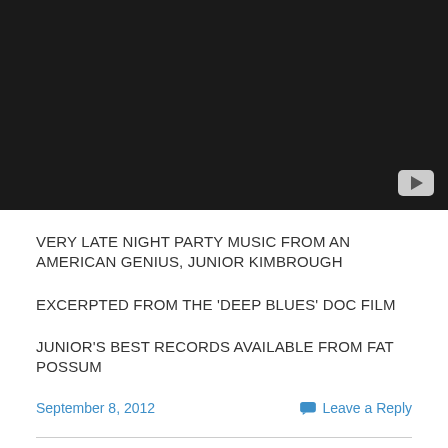[Figure (screenshot): Embedded video player with dark/black background and YouTube play button in bottom right corner]
VERY LATE NIGHT PARTY MUSIC FROM AN AMERICAN GENIUS, JUNIOR KIMBROUGH
EXCERPTED FROM THE 'DEEP BLUES' DOC FILM
JUNIOR'S BEST RECORDS AVAILABLE FROM FAT POSSUM
September 8, 2012
Leave a Reply
Reviews by C and D (Arthur